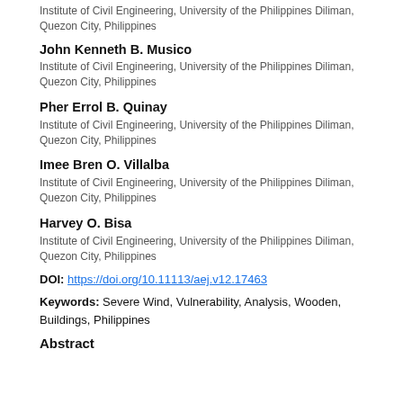Institute of Civil Engineering, University of the Philippines Diliman, Quezon City, Philippines
John Kenneth B. Musico
Institute of Civil Engineering, University of the Philippines Diliman, Quezon City, Philippines
Pher Errol B. Quinay
Institute of Civil Engineering, University of the Philippines Diliman, Quezon City, Philippines
Imee Bren O. Villalba
Institute of Civil Engineering, University of the Philippines Diliman, Quezon City, Philippines
Harvey O. Bisa
Institute of Civil Engineering, University of the Philippines Diliman, Quezon City, Philippines
DOI: https://doi.org/10.11113/aej.v12.17463
Keywords: Severe Wind, Vulnerability, Analysis, Wooden, Buildings, Philippines
Abstract